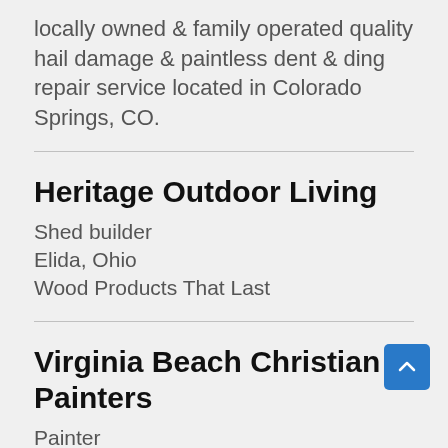locally owned & family operated quality hail damage & paintless dent & ding repair service located in Colorado Springs, CO.
Heritage Outdoor Living
Shed builder
Elida, Ohio
Wood Products That Last
Virginia Beach Christian Painters
Painter
Newport News, VA (only in VA not North Carolina), VA